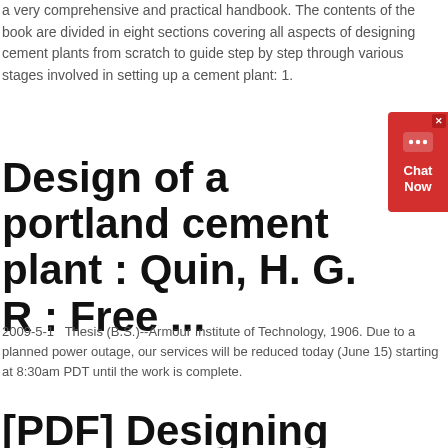a very comprehensive and practical handbook. The contents of the book are divided in eight sections covering all aspects of designing cement plants from scratch to guide step by step through various stages involved in setting up a cement plant: 1.
[Figure (other): Red chat widget button with '...' icon and 'Chat Now' label in the top-right area]
Design of a portland cement plant : Quin, H. G. R : Free ...
2009-5-1   Thesis (B.S.)--Armour Institute of Technology, 1906. Due to a planned power outage, our services will be reduced today (June 15) starting at 8:30am PDT until the work is complete.
[PDF] Designing Green